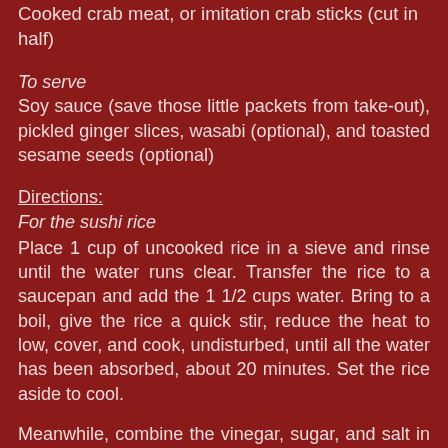1. 1 ripe avocado, cut into strips
Cooked crab meat, or imitation crab sticks (cut in half)
To serve
Soy sauce (save those little packets from take-out), pickled ginger slices, wasabi (optional), and toasted sesame seeds (optional)
Directions:
For the sushi rice
Place 1 cup of uncooked rice in a sieve and rinse until the water runs clear. Transfer the rice to a saucepan and add the 1 1/2 cups water. Bring to a boil, give the rice a quick stir, reduce the heat to low, cover, and cook, undisturbed, until all the water has been absorbed, about 20 minutes. Set the rice aside to cool.
Meanwhile, combine the vinegar, sugar, and salt in a small saucepan over low heat and cook, stirring, until the sugar and salt dissolve, about 2 minutes. Let cool. Transfer the cooked rice to a wide, shallow, glass dish and spread it out evenly with a spatula. Slowly pour in the vinegar mixture while slicing the spatula through the rice. Do not stir. Cov